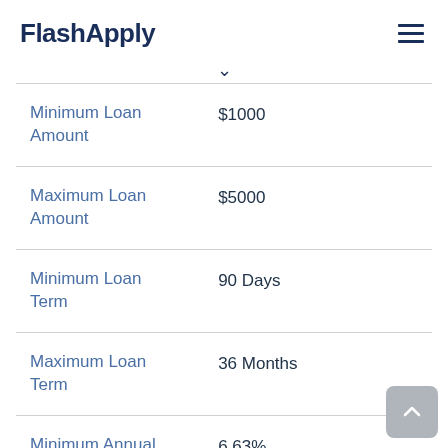FlashApply
| Field | Value |
| --- | --- |
| Minimum Loan Amount | $1000 |
| Maximum Loan Amount | $5000 |
| Minimum Loan Term | 90 Days |
| Maximum Loan Term | 36 Months |
| Minimum Annual Percentage Rate | 6.63% |